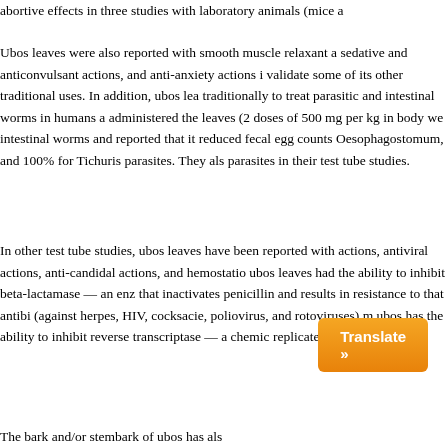abortive effects in three studies with laboratory animals (mice a
Ubos leaves were also reported with smooth muscle relaxant a sedative and anticonvulsant actions, and anti-anxiety actions i validate some of its other traditional uses. In addition, ubos lea traditionally to treat parasitic and intestinal worms in humans a administered the leaves (2 doses of 500 mg per kg in body we intestinal worms and reported that it reduced fecal egg counts Oesophagostomum, and 100% for Tichuris parasites. They als parasites in their test tube studies.
In other test tube studies, ubos leaves have been reported with actions, antiviral actions, anti-candidal actions, and hemostatio ubos leaves had the ability to inhibit beta-lactamase — an enz that inactivates penicillin and results in resistance to that antibi (against herpes, HIV, cocksacie, poliovirus, and rotoviruses) m ubos has the ability to inhibit reverse transcriptase — a chemic replicate.
The bark and/or stembark of ubos has als